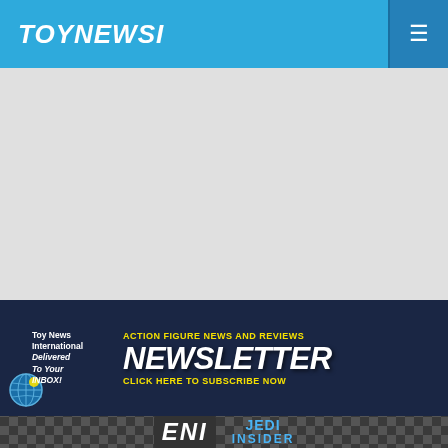TOYNEWSI
[Figure (other): Grey placeholder content area]
[Figure (other): Newsletter banner advertisement: Toy News International Delivered To Your INBOX! ACTION FIGURE NEWS AND REVIEWS NEWSLETTER CLICK HERE TO SUBSCRIBE NOW]
[Figure (other): Checkered background strip with ENI and Jedi Insider logos]